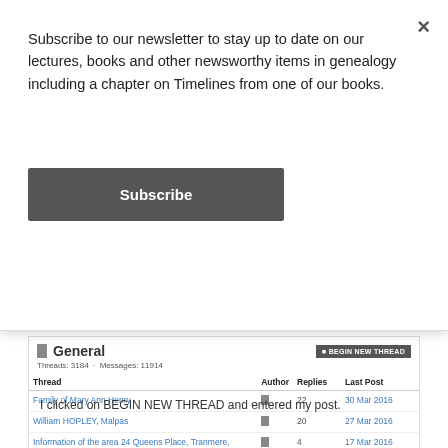Subscribe to our newsletter to stay up to date on our lectures, books and other newsworthy items in genealogy including a chapter on Timelines from one of our books.
Subscribe
[Figure (screenshot): Genealogy message board search interface showing Names or keywords search field, SEARCH button, Advanced Search link, All Boards and General - Family History & Genealogy Message Board radio options, and a forum section titled General with Threads: 3184, Messages: 11914, listing three threads: Family of Mary Ann Henry (22 replies, 30 Mar 2016), William HOPLEY, Malpas (20 replies, 27 Mar 2016), Information of the area 24 Queens Place, Tranmere, Birkenhead (4 replies, 17 Mar 2016)]
I clicked on BEGIN NEW THREAD and entered my post.